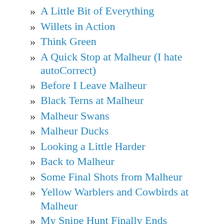» A Little Bit of Everything
» Willets in Action
» Think Green
» A Quick Stop at Malheur (I hate autoCorrect)
» Before I Leave Malheur
» Black Terns at Malheur
» Malheur Swans
» Malheur Ducks
» Looking a Little Harder
» Back to Malheur
» Some Final Shots from Malheur
» Yellow Warblers and Cowbirds at Malheur
» My Snipe Hunt Finally Ends
» It's Hard Not to Imagine the